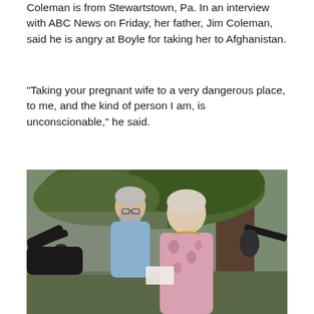Coleman is from Stewartstown, Pa. In an interview with ABC News on Friday, her father, Jim Coleman, said he is angry at Boyle for taking her to Afghanistan.
"Taking your pregnant wife to a very dangerous place, to me, and the kind of person I am, is unconscionable," he said.
[Figure (photo): A man and a woman standing outdoors near a large tree, being interviewed by reporters holding microphones toward them. The man is wearing a blue shirt and glasses with grey hair and beard. The woman has blonde/grey hair and is wearing a pink floral top.]